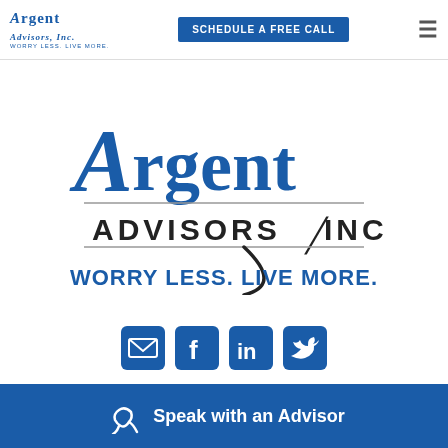Argent Advisors Inc | SCHEDULE A FREE CALL
[Figure (logo): Argent Advisors Inc large logo with stylized A, text 'Argent' in blue serif font, 'ADVISORS INC' in black uppercase with horizontal rules, and tagline 'WORRY LESS. LIVE MORE.' in blue bold uppercase]
[Figure (infographic): Four social media icons in a row: email/envelope, Facebook, LinkedIn, Twitter — all in blue square rounded icons]
Speak with an Advisor